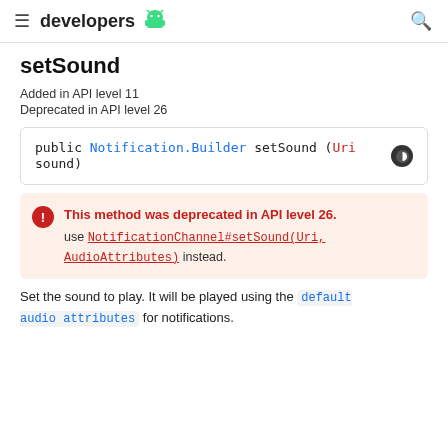developers [android logo]
setSound
Added in API level 11
Deprecated in API level 26
public Notification.Builder setSound (Uri sound)
This method was deprecated in API level 26. use NotificationChannel#setSound(Uri, AudioAttributes) instead.
Set the sound to play. It will be played using the default audio attributes for notifications.